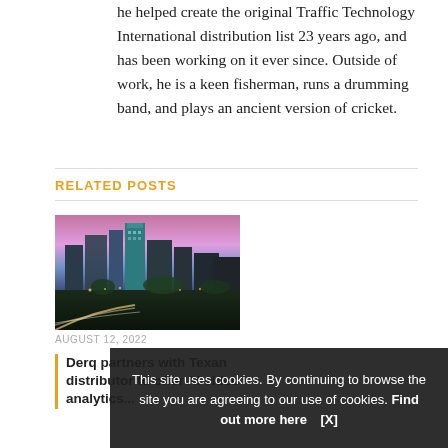he helped create the original Traffic Technology International distribution list 23 years ago, and has been working on it ever since. Outside of work, he is a keen fisherman, runs a drumming band, and plays an ancient version of cricket.
RELATED POSTS
[Figure (photo): Night cityscape photo showing a city skyline with light trails from traffic, pink and purple sky, tall modern buildings]
AUGUST 12, 2022
Derq partners with Texan distributor to offer AI video analytics...
This site uses cookies. By continuing to browse the site you are agreeing to our use of cookies. Find out more here   [X]